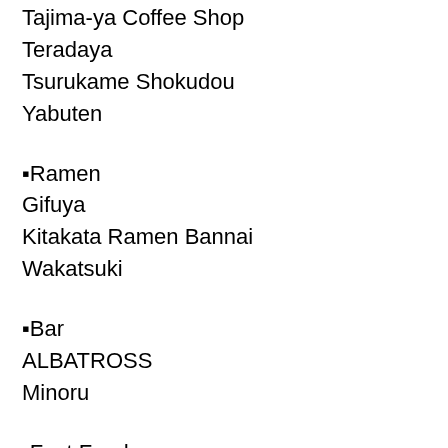Tajima-ya Coffee Shop
Teradaya
Tsurukame Shokudou
Yabuten
▪Ramen
Gifuya
Kitakata Ramen Bannai
Wakatsuki
▪Bar
ALBATROSS
Minoru
▪Fast Food
Curry House CoCo Ichiban-ya Shinjuku West gate